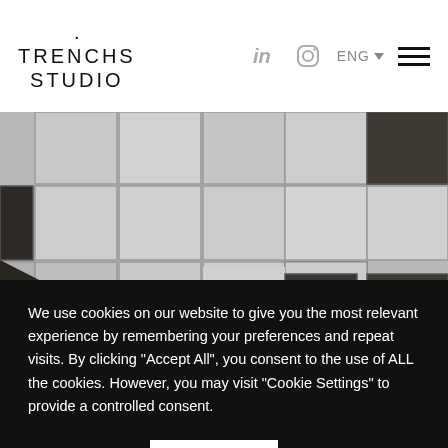.TRENCHS STUDIO
[Figure (photo): Close-up photograph of decorative cement/encaustic tiles in grey and dark brown/black, arranged in a geometric pattern with a mix of solid dark squares and lighter grey tiles]
We use cookies on our website to give you the most relevant experience by remembering your preferences and repeat visits. By clicking "Accept All", you consent to the use of ALL the cookies. However, you may visit "Cookie Settings" to provide a controlled consent.
Cookie Settings
Accept All